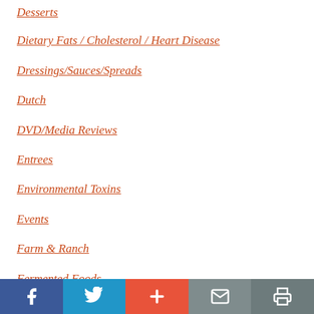Desserts
Dietary Fats / Cholesterol / Heart Disease
Dressings/Sauces/Spreads
Dutch
DVD/Media Reviews
Entrees
Environmental Toxins
Events
Farm & Ranch
Fermented Foods
Facebook | Twitter | + | Mail | Print